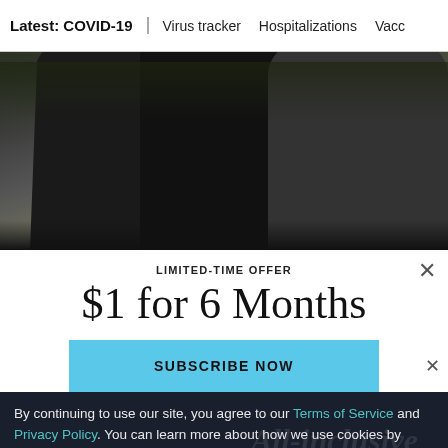Latest: COVID-19 | Virus tracker | Hospitalizations | Vacc
[Figure (photo): Photograph of people wearing masks outdoors, one holding a pamphlet, interacting near a fence or mailbox area.]
LIMITED-TIME OFFER
$1 for 6 Months
SUBSCRIBE NOW
By continuing to use our site, you agree to our Terms of Service and Privacy Policy. You can learn more about how we use cookies by reviewing our Privacy Policy. Close